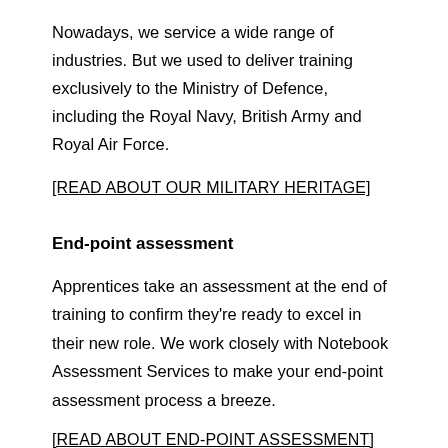Nowadays, we service a wide range of industries. But we used to deliver training exclusively to the Ministry of Defence, including the Royal Navy, British Army and Royal Air Force.
[READ ABOUT OUR MILITARY HERITAGE]
End-point assessment
Apprentices take an assessment at the end of training to confirm they’re ready to excel in their new role. We work closely with Notebook Assessment Services to make your end-point assessment process a breeze.
[READ ABOUT END-POINT ASSESSMENT]